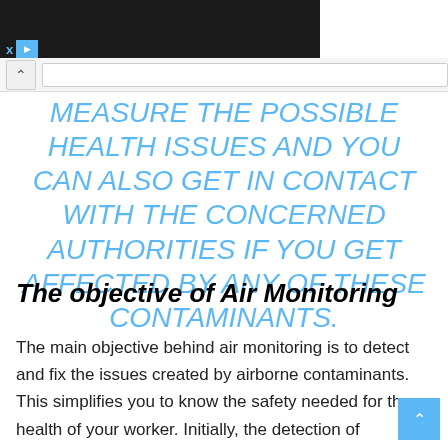MEASURE THE POSSIBLE HEALTH ISSUES AND YOU CAN ALSO GET IN CONTACT WITH THE CONCERNED AUTHORITIES IF YOU GET AFFECTED BY ANY OF THESE CONTAMINANTS.
The objective of Air Monitoring
The main objective behind air monitoring is to detect and fix the issues created by airborne contaminants. This simplifies you to know the safety needed for the health of your worker. Initially, the detection of contaminants enables you to know the class it belongs. This helps you to know the quality of contaminants and the attention required to it.